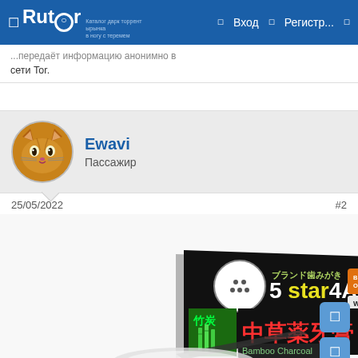Rutor — navigation bar with Вход and Регистр...
сети Tor.
Ewavi
Пассажир
25/05/2022   #2
[Figure (photo): Product photo of 5 Star 4A bamboo charcoal toothpaste box (中草薬牙膏), dark packaging with Japanese/Chinese text, showing smiling person with white teeth]